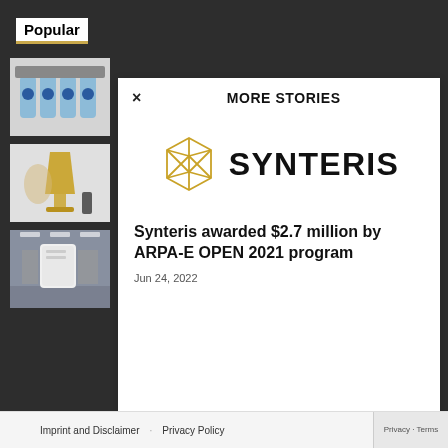Popular
[Figure (photo): Thumbnail image of Pepsi bottles with industrial machinery]
[Figure (photo): Thumbnail image of a golden trophy/funnel and laboratory equipment]
[Figure (photo): Thumbnail image of a white industrial/server unit in a room]
× MORE STORIES
[Figure (logo): Synteris logo: golden geometric polygon with the word SYNTERIS in bold black]
Synteris awarded $2.7 million by ARPA-E OPEN 2021 program
Jun 24, 2022
Imprint and Disclaimer   Privacy Policy   Privacy · Terms